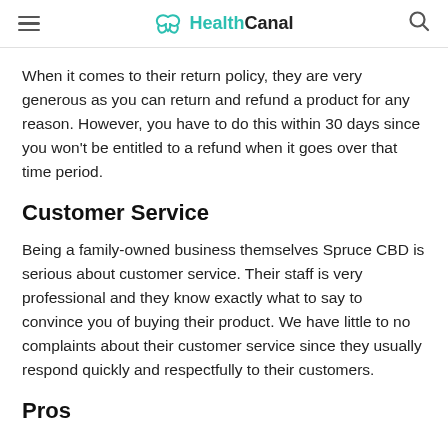HealthCanal
When it comes to their return policy, they are very generous as you can return and refund a product for any reason. However, you have to do this within 30 days since you won't be entitled to a refund when it goes over that time period.
Customer Service
Being a family-owned business themselves Spruce CBD is serious about customer service. Their staff is very professional and they know exactly what to say to convince you of buying their product. We have little to no complaints about their customer service since they usually respond quickly and respectfully to their customers.
Pros